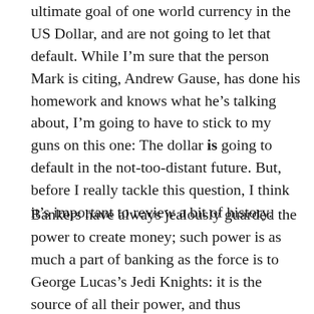ultimate goal of one world currency in the US Dollar, and are not going to let that default. While I'm sure that the person Mark is citing, Andrew Gause, has done his homework and knows what he's talking about, I'm going to have to stick to my guns on this one: The dollar is going to default in the not-too-distant future. But, before I really tackle this question, I think it's important to review a bit of history.
Bankers have always jealously guarded the power to create money; such power is as much a part of banking as the force is to George Lucas's Jedi Knights: it is the source of all their power, and thus zealously defended by them. Remove from a banker his ability to create money, and all you're left with is someone in formal clothes. Of course, money-creation creates problems of its own as well-